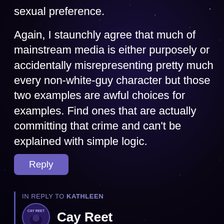sexual preference.
Again, I staunchly agree that much of mainstream media is either purposely or accidentally misrepresenting pretty much every non-white-guy character but those two examples are awful choices for examples. Find ones that are actually committing that crime and can't be explained with simple logic.
Reply
IN REPLY TO KATHLEEN
Cay Reet